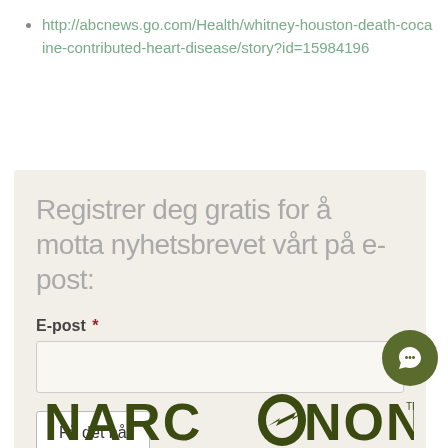http://abcnews.go.com/Health/whitney-houston-death-cocaine-contributed-heart-disease/story?id=15984196
Registrer deg gratis for å motta nyhetsbrevet vårt på e-post:
E-post *
Få det nå
[Figure (logo): NARCONON logo in dark olive/green color with stylized arrow through the Os]